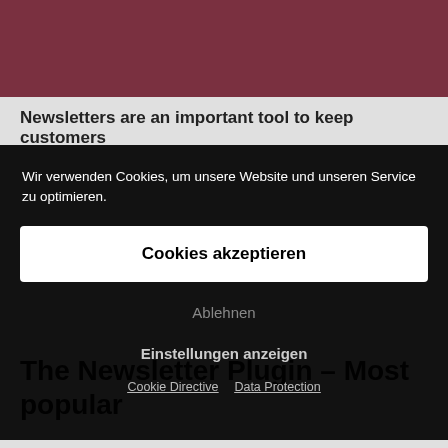[Figure (photo): Photo of a person partially visible at the top of the page with dark red/maroon background]
Newsletters are an important tool to keep customers
Wir verwenden Cookies, um unsere Website und unseren Service zu optimieren.
Cookies akzeptieren
Ablehnen
Einstellungen anzeigen
Cookie Directive   Data Protection
The Newsletter Plugin – Most popular